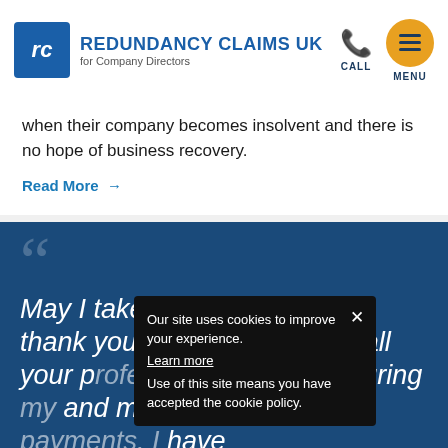REDUNDANCY CLAIMS UK for Company Directors
when their company becomes insolvent and there is no hope of business recovery.
Read More →
May I take this opportunity to thank you and your team for all your p… help in securing… and my wife, redu… have
Our site uses cookies to improve your experience. Learn more Use of this site means you have accepted the cookie policy.